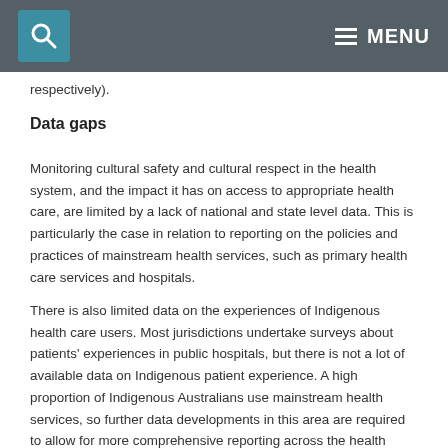MENU
respectively).
Data gaps
Monitoring cultural safety and cultural respect in the health system, and the impact it has on access to appropriate health care, are limited by a lack of national and state level data. This is particularly the case in relation to reporting on the policies and practices of mainstream health services, such as primary health care services and hospitals.
There is also limited data on the experiences of Indigenous health care users. Most jurisdictions undertake surveys about patients' experiences in public hospitals, but there is not a lot of available data on Indigenous patient experience. A high proportion of Indigenous Australians use mainstream health services, so further data developments in this area are required to allow for more comprehensive reporting across the health sector.